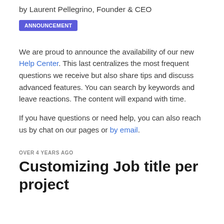by Laurent Pellegrino, Founder & CEO
ANNOUNCEMENT
We are proud to announce the availability of our new Help Center. This last centralizes the most frequent questions we receive but also share tips and discuss advanced features. You can search by keywords and leave reactions. The content will expand with time.
If you have questions or need help, you can also reach us by chat on our pages or by email.
OVER 4 YEARS AGO
Customizing Job title per project